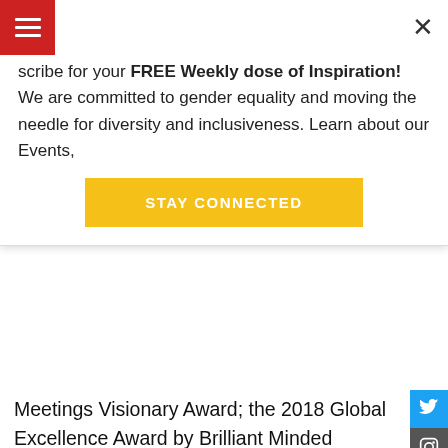[Figure (screenshot): Top overlay banner with red hamburger menu icon, subscription text, STAY CONNECTED yellow button, and close X button]
scribe for your FREE Weekly dose of Inspiration! We are committed to gender equality and moving the needle for diversity and inclusiveness. Learn about our Events,
STAY CONNECTED
Meetings Visionary Award; the 2018 Global Excellence Award by Brilliant Minded Women Organization; the 2018 Katie Taylor Economic Empowerment Award by Women in Tourism & Hospitality; the 2018 Influence Award by Meeting Professionals International; the 2018 Top 500 People in Events and 2017 Induction into the Biz Bash Hall of Fame; one of the Top 25 Power Women of 2017 by New York Moves Magazine; the 2014 Outstanding Achievement in Industry Leadership by IAEE and inducted into the